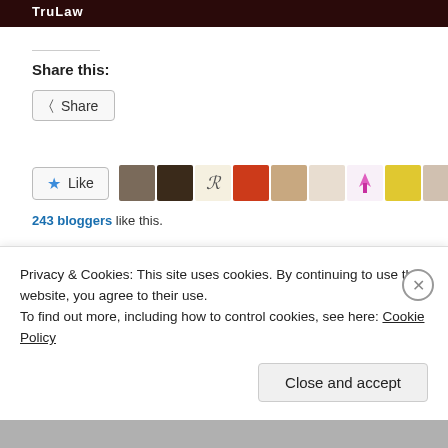[Figure (screenshot): Dark red/black banner with white bold text reading 'TruLaw']
Share this:
[Figure (screenshot): Share button with share icon]
[Figure (screenshot): Like button with star icon, followed by a row of 9 blogger avatar thumbnails]
243 bloggers like this.
Related
Privacy & Cookies: This site uses cookies. By continuing to use this website, you agree to their use.
To find out more, including how to control cookies, see here: Cookie Policy
Close and accept